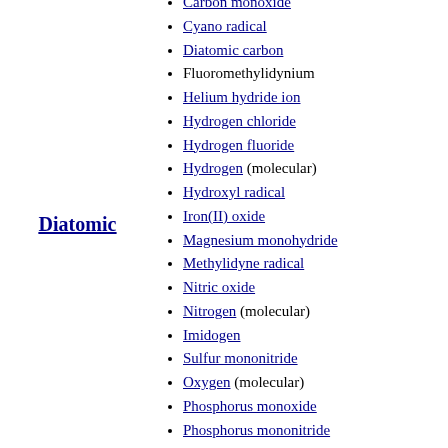Diatomic
Carbon monoxide
Cyano radical
Diatomic carbon
Fluoromethylidynium
Helium hydride ion
Hydrogen chloride
Hydrogen fluoride
Hydrogen (molecular)
Hydroxyl radical
Iron(II) oxide
Magnesium monohydride
Methylidyne radical
Nitric oxide
Nitrogen (molecular)
Imidogen
Sulfur mononitride
Oxygen (molecular)
Phosphorus monoxide
Phosphorus mononitride
Potassium chloride
Silicon carbide
Silicon monoxide
Silicon monosulfide